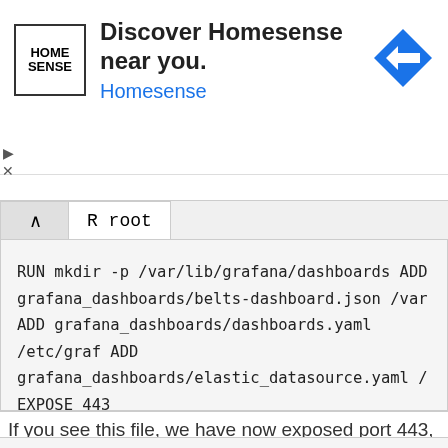[Figure (other): Homesense advertisement banner with logo, text 'Discover Homesense near you.' and navigation icon]
R root
RUN mkdir -p /var/lib/grafana/dashboards
ADD grafana_dashboards/belts-dashboard.json /var
ADD grafana_dashboards/dashboards.yaml /etc/graf
ADD grafana_dashboards/elastic_datasource.yaml /

EXPOSE 443
If you see this file, we have now exposed port 443, and setup the certificates. Now, when you run it. You will be able to access it on https.